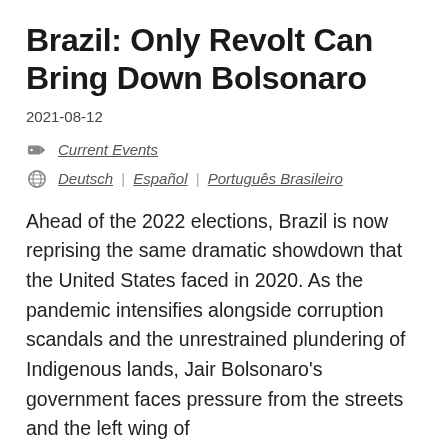Brazil: Only Revolt Can Bring Down Bolsonaro
2021-08-12
Current Events
Deutsch | Español | Português Brasileiro
Ahead of the 2022 elections, Brazil is now reprising the same dramatic showdown that the United States faced in 2020. As the pandemic intensifies alongside corruption scandals and the unrestrained plundering of Indigenous lands, Jair Bolsonaro's government faces pressure from the streets and the left wing of